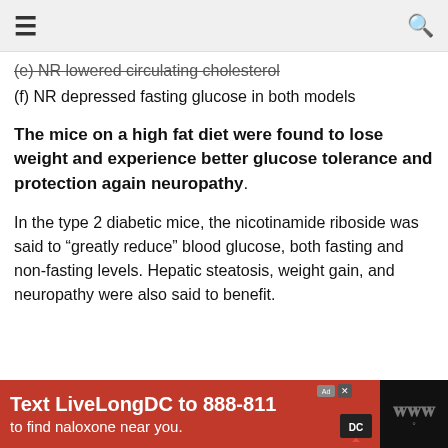☰ [hamburger menu] [search icon]
(e) NR lowered circulating cholesterol
(f) NR depressed fasting glucose in both models
The mice on a high fat diet were found to lose weight and experience better glucose tolerance and protection again neuropathy.
In the type 2 diabetic mice, the nicotinamide riboside was said to “greatly reduce” blood glucose, both fasting and non-fasting levels. Hepatic steatosis, weight gain, and neuropathy were also said to benefit.
[Figure (other): Advertisement banner: Text LiveLongDC to 888-811 to find naloxone near you. Red background with logos.]